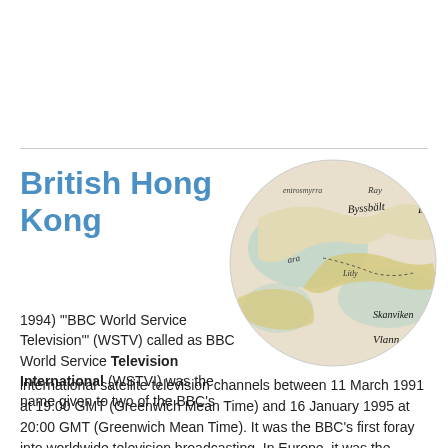British Hong Kong
[Figure (map): Circular cropped historical map showing place names including Byssbält, Skanviken, Vlann, and other Nordic/Baltic region labels in old cartographic style]
1994) '"BBC World Service Television'" (WSTV) called as BBC World Service Television International (WSTVI) was the name given to two of the BBC's international satellite television channels between 11 March 1991 at 19:00 GMT (Greenwich Mean Time) and 16 January 1995 at 20:00 GMT (Greenwich Mean Time). It was the BBC's first foray into worldwide television broadcasting. In Europe, it was the successor to BBC TV Europe replacing it on 11 March 1991 at 19:00 GMT as BBC World Service Television Europe,